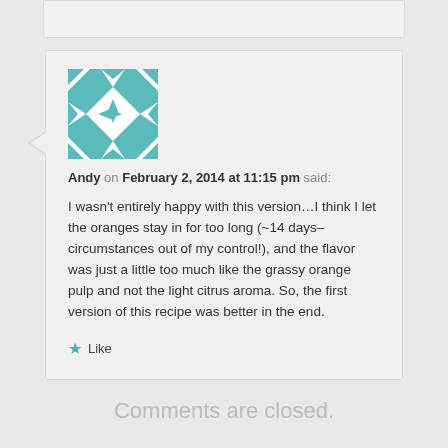Andy on February 2, 2014 at 11:15 pm said:
I wasn't entirely happy with this version…I think I let the oranges stay in for too long (~14 days–circumstances out of my control!), and the flavor was just a little too much like the grassy orange pulp and not the light citrus aroma. So, the first version of this recipe was better in the end.
Like
Comments are closed.